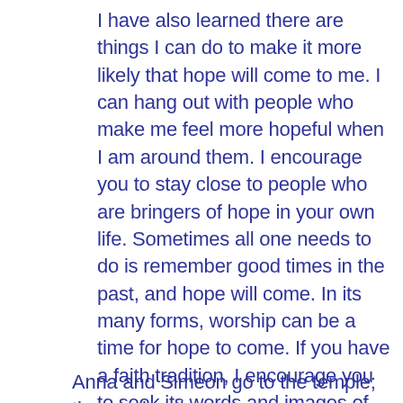I have also learned there are things I can do to make it more likely that hope will come to me.  I can hang out with people who make me feel more hopeful when I am around them.  I encourage you to stay close to people who are bringers of hope in your own life.  Sometimes all one needs to do is remember good times in the past, and hope will come.  In its many forms, worship can be a time for hope to come.  If you have a faith tradition, I encourage you to seek its words and images of hope and then draw as close to them as you can.
Anna and Simeon go to the temple; the magi and